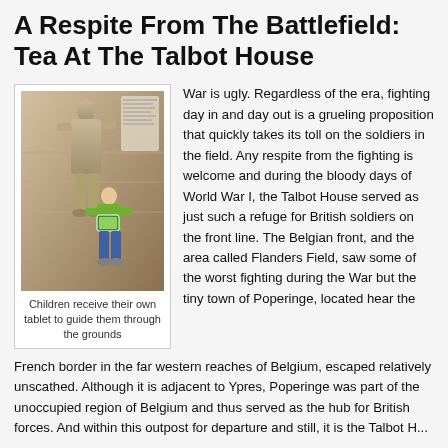A Respite From The Battlefield: Tea At The Talbot House
[Figure (photo): A child holding a tablet standing next to a life-size statue of a WWI soldier inside the Talbot House museum.]
Children receive their own tablet to guide them through the grounds
War is ugly. Regardless of the era, fighting day in and day out is a grueling proposition that quickly takes its toll on the soldiers in the field. Any respite from the fighting is welcome and during the bloody days of World War I, the Talbot House served as just such a refuge for British soldiers on the front line. The Belgian front, and the area called Flanders Field, saw some of the worst fighting during the War but the tiny town of Poperinge, located hear the French border in the far western reaches of Belgium, escaped relatively unscathed. Although it is adjacent to Ypres, Poperinge was part of the unoccupied region of Belgium and thus served as the hub for British forces. And within this outpost for departure and still, it is the Talbot H...